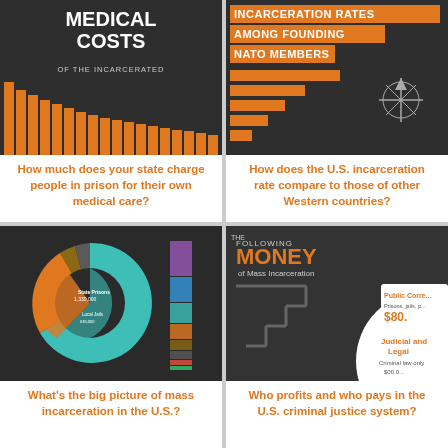[Figure (infographic): Medical Costs of the Incarcerated infographic with bar chart on dark background]
How much does your state charge people in prison for their own medical care?
[Figure (infographic): Incarceration Rates Among Founding NATO Members horizontal bar chart on dark background]
How does the U.S. incarceration rate compare to those of other Western countries?
[Figure (infographic): Big picture of mass incarceration in the U.S. - donut/pie chart on dark background]
What's the big picture of mass incarceration in the U.S.?
[Figure (infographic): Following the Money of Mass Incarceration infographic showing judicial and legal costs, public corrections]
Who profits and who pays in the U.S. criminal justice system?